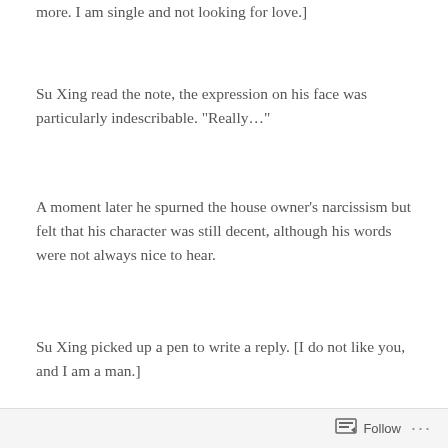more. I am single and not looking for love.]
Su Xing read the note, the expression on his face was particularly indescribable. “Really…”
A moment later he spurned the house owner’s narcissism but felt that his character was still decent, although his words were not always nice to hear.
Su Xing picked up a pen to write a reply. [I do not like you, and I am a man.]
Su Xing only dared to reveal that bit of his own information. He had to be careful with future communication with the house owner. Then he packed up his things and left the house…
Follow …